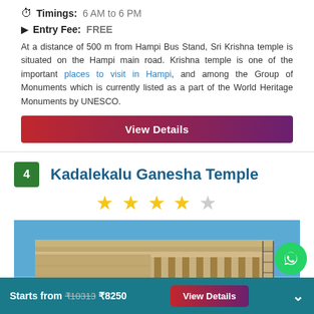Timings: 6 AM to 6 PM
Entry Fee: FREE
At a distance of 500 m from Hampi Bus Stand, Sri Krishna temple is situated on the Hampi main road. Krishna temple is one of the important places to visit in Hampi, and among the Group of Monuments which is currently listed as a part of the World Heritage Monuments by UNESCO.
View Details
4 Kadalekalu Ganesha Temple
[Figure (other): Photo of Kadalekalu Ganesha Temple, a stone temple structure with columns against a blue sky]
Starts from ₹10313 ₹8250  View Details